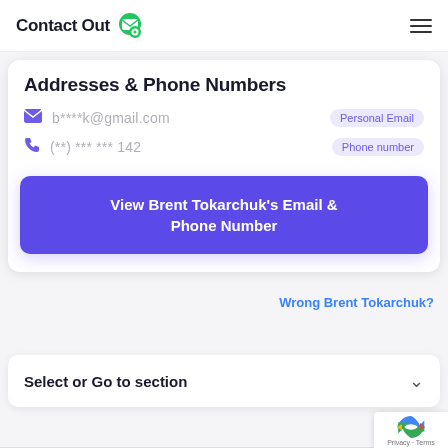ContactOut
Addresses & Phone Numbers
b****k@gmail.com  Personal Email
(**) *** *** 142  Phone number
View Brent Tokarchuk's Email & Phone Number
Wrong Brent Tokarchuk?
Select or Go to section